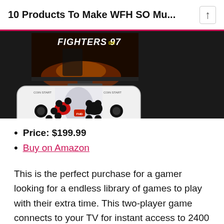10 Products To Make WFH SO Mu...
[Figure (photo): Product photo showing an arcade fighting game stick controller (King of Fighters 97 themed, two-player arcade stick with Street Fighter character artwork) connected to a TV monitor displaying the game]
Price: $199.99
Buy on Amazon
This is the perfect purchase for a gamer looking for a endless library of games to play with their extra time. This two-player game connects to your TV for instant access to 2400 different arcade